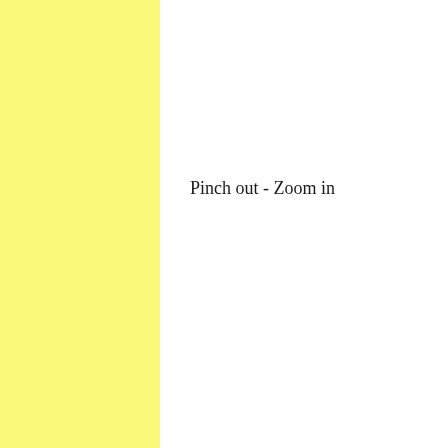[Figure (other): Yellow vertical panel on the left third of the page]
Pinch out - Zoom in